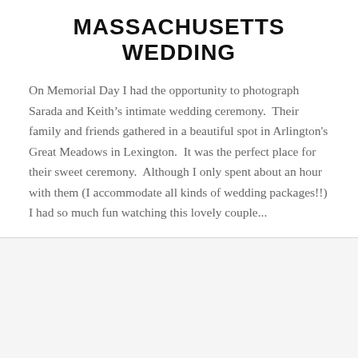MASSACHUSETTS WEDDING
On Memorial Day I had the opportunity to photograph Sarada and Keith’s intimate wedding ceremony.  Their family and friends gathered in a beautiful spot in Arlington's Great Meadows in Lexington.  It was the perfect place for their sweet ceremony.  Although I only spent about an hour with them (I accommodate all kinds of wedding packages!!) I had so much fun watching this lovely couple...